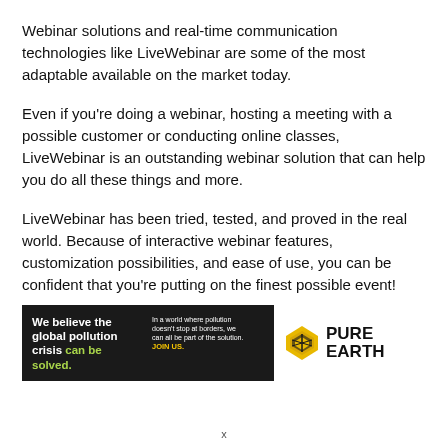Webinar solutions and real-time communication technologies like LiveWebinar are some of the most adaptable available on the market today.
Even if you're doing a webinar, hosting a meeting with a possible customer or conducting online classes, LiveWebinar is an outstanding webinar solution that can help you do all these things and more.
LiveWebinar has been tried, tested, and proved in the real world. Because of interactive webinar features, customization possibilities, and ease of use, you can be confident that you're putting on the finest possible event!
[Figure (infographic): Pure Earth advertisement banner. Left black panel reads 'We believe the global pollution crisis can be solved.' with 'can be solved.' in green. Right side of black panel reads 'In a world where pollution doesn't stop at borders, we can all be part of the solution. JOIN US.' in yellow. Right side shows Pure Earth logo with diamond/chevron icon and 'PURE EARTH' text in bold.]
x